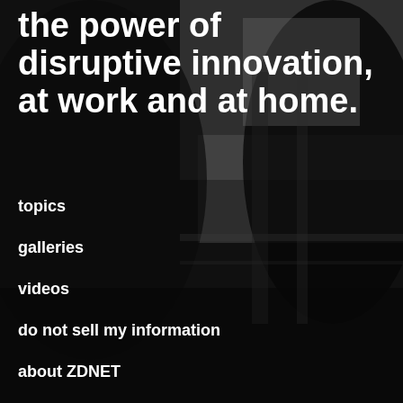[Figure (photo): Grayscale background photo of people working at a desk/office environment, dark tones with silhouettes]
the power of disruptive innovation, at work and at home.
topics
galleries
videos
do not sell my information
about ZDNET
meet the team
site map